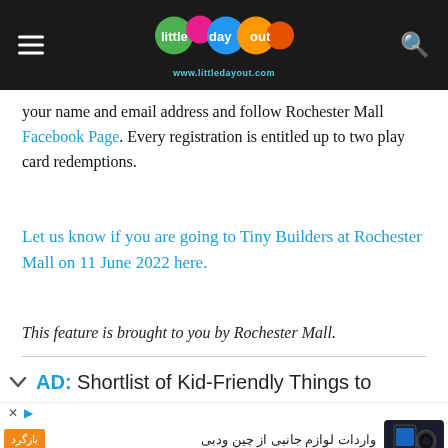Little Day Out — www.littledayout.com
your name and email address and follow Rochester Mall Facebook Page. Every registration is entitled up to two play card redemptions.
Let us know if you are going to Tiny Builders at Rochester Mall on 11 June 2022 here.
This feature is brought to you by Rochester Mall.
AD: Shortlist of Kid-Friendly Things to
[Figure (screenshot): Advertisement banner with Persian text and phone imagery. Shows orange button, Arabic/Persian text 'واردات لوازم جانبی از چین ودبی', phone product image, and advertiser name 'بازرگانی سپاهان همراه'.]